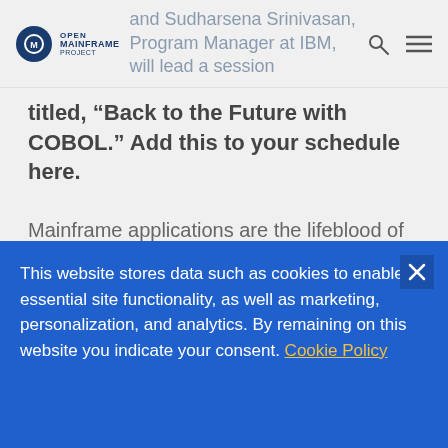Open Mainframe Project logo | and Sudharsena Srinivasan, Program Manager at IBM, will lead a session
titled, “Back to the Future with COBOL.” Add this to your schedule here.
Mainframe applications are the lifeblood of the global economy. COBOL is the lifeblood of those applications. Yet few people realise or acknowledge the profound impact the COBOL
This website stores data such as cookies to enable essential site functionality, as well as marketing, personalization, and analytics. By remaining on this website you indicate your consent. Cookie Policy